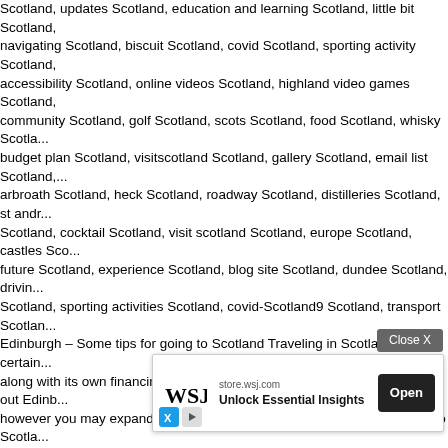Scotland, updates Scotland, education and learning Scotland, little bit Scotland, navigating Scotland, biscuit Scotland, covid Scotland, sporting activity Scotland, accessibility Scotland, online videos Scotland, highland video games Scotland, community Scotland, golf Scotland, scots Scotland, food Scotland, whisky Scotland, budget plan Scotland, visitscotland Scotland, gallery Scotland, email list Scotland, arbroath Scotland, heck Scotland, roadway Scotland, distilleries Scotland, st andrews Scotland, cocktail Scotland, visit scotland Scotland, europe Scotland, castles Scotland, future Scotland, experience Scotland, blog site Scotland, dundee Scotland, driving Scotland, sporting activities Scotland, covid-Scotland9 Scotland, transport Scotland, Edinburgh – Some tips for going to Scotland Traveling in Scotland need to certain along with its own financing. It takes approximately pair of days to check out Edinburgh however you may expand this time up to 4. In the scenario of a brief see to Scotland, you can also restrict yourself to Edinburgh just, spending one time on a circular vacation by bus in the Scottish highlands (just about every traveling agency in the capital supplies it). For a somewhat longer trip (albeit still confined to just a few days) from Edinburgh, I would certainly propose to hit in 2 paths: Isle of Arran or Loch Lomond. Arran is called Scotland in mini. Devoting pair of or three times on the isle, we can delight in the beauty of the west shore, unwind on the seashore, climb the best height of the isle– Goat Fell, and also admire the grassy mountains and also take pleasure in space. Loch Lomond is just one of Scotland's pair of nationwide playgrounds, a gorgeous lake encompassed through hillsides as well as forests. Heading, you can additionally explore Stirling Castle. There is a direct learn coming from Glasgow in directions. nation Scotland, scottish Scotland, app Scotland, conservative Scotland, Scotland, scotland Scotland, our company Scotland, edinburgh Scotland, kid Scotland, cult Scotland, chart Scotland, iona Scotland, menu Scotland, trip Scotland, information Scotland, record Scotland, car Scotland, ship Scotland, uk Scotland, train Scotland, celtic Scotland, tay Scotland, bus Scotland, navigation Scotland, Scotland, Scotland, scotland
[Figure (screenshot): Advertisement overlay: WSJ store.wsj.com 'Unlock Essential Insights' with Open button, and a Close X button above it.]